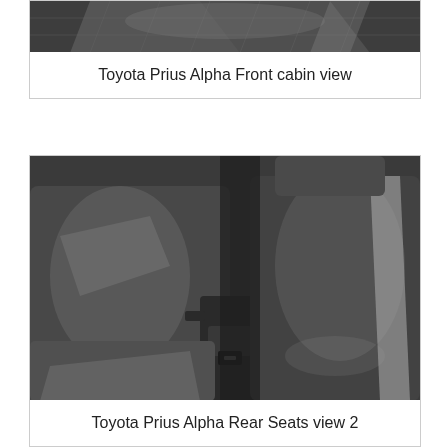[Figure (photo): Toyota Prius Alpha front cabin interior view showing dark upholstered seats with diamond-pattern stitching, partially cropped at top of image]
Toyota Prius Alpha Front cabin view
[Figure (photo): Toyota Prius Alpha rear seats view 2, showing dark leather/upholstered rear bench seat interior with center console, shot from angle showing both rear seats]
Toyota Prius Alpha Rear Seats view 2